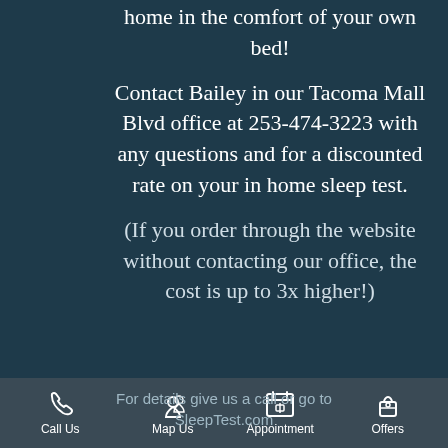home in the comfort of your own bed!
Contact Bailey in our Tacoma Mall Blvd office at 253-474-3223 with any questions and for a discounted rate on your in home sleep test.
(If you order through the website without contacting our office, the cost is up to 3x higher!)
For details give us a call or go to SleepTest.com
Call Us   Map Us   Appointment   Offers